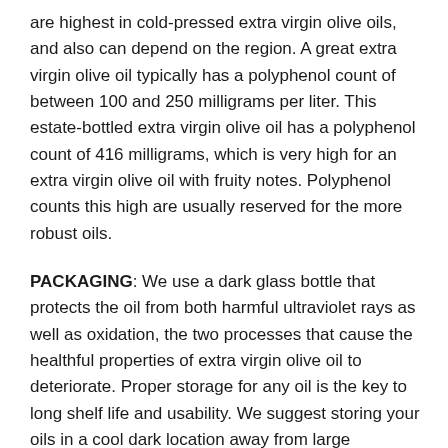are highest in cold-pressed extra virgin olive oils, and also can depend on the region. A great extra virgin olive oil typically has a polyphenol count of between 100 and 250 milligrams per liter. This estate-bottled extra virgin olive oil has a polyphenol count of 416 milligrams, which is very high for an extra virgin olive oil with fruity notes. Polyphenol counts this high are usually reserved for the more robust oils.
PACKAGING: We use a dark glass bottle that protects the oil from both harmful ultraviolet rays as well as oxidation, the two processes that cause the healthful properties of extra virgin olive oil to deteriorate. Proper storage for any oil is the key to long shelf life and usability. We suggest storing your oils in a cool dark location away from large temperature changes.